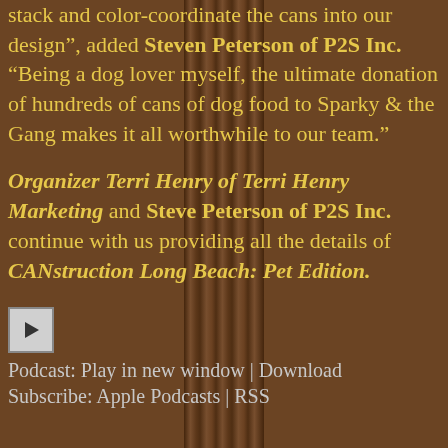stack and color-coordinate the cans into our design”, added Steven Peterson of P2S Inc. “Being a dog lover myself, the ultimate donation of hundreds of cans of dog food to Sparky & the Gang makes it all worthwhile to our team.”
Organizer Terri Henry of Terri Henry Marketing and Steve Peterson of P2S Inc. continue with us providing all the details of CANstruction Long Beach: Pet Edition.
[Figure (other): Play button (media player control)]
Podcast: Play in new window | Download
Subscribe: Apple Podcasts | RSS